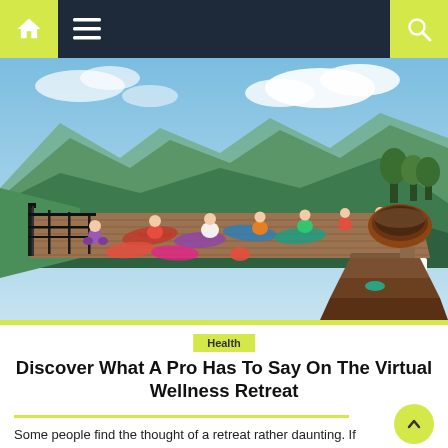Navigation bar with home, menu, and search icons
[Figure (photo): Outdoor yoga retreat on a wooden deck with mountain and green valley backdrop. Multiple people doing yoga on mats. A hot tub is visible on the right side. Blue sky with clouds above.]
Health
Discover What A Pro Has To Say On The Virtual Wellness Retreat
Some people find the thought of a retreat rather daunting. If